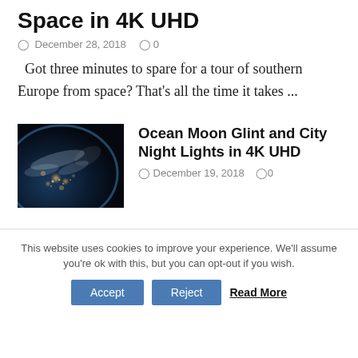Space in 4K UHD
December 28, 2018   0
Got three minutes to spare for a tour of southern Europe from space? That's all the time it takes ...
[Figure (photo): Aerial satellite photo of Earth at night showing city lights and coastline]
Ocean Moon Glint and City Night Lights in 4K UHD
December 19, 2018   0
This website uses cookies to improve your experience. We'll assume you're ok with this, but you can opt-out if you wish.